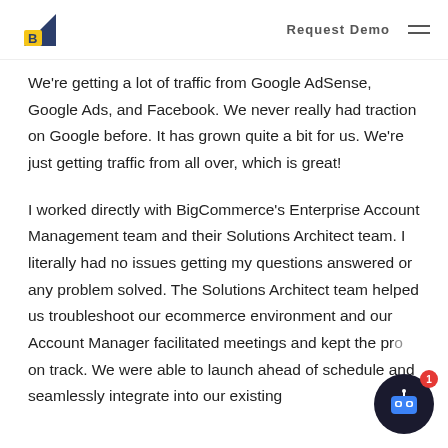Request Demo
We're getting a lot of traffic from Google AdSense, Google Ads, and Facebook. We never really had traction on Google before. It has grown quite a bit for us. We're just getting traffic from all over, which is great!
I worked directly with BigCommerce's Enterprise Account Management team and their Solutions Architect team. I literally had no issues getting my questions answered or any problem solved. The Solutions Architect team helped us troubleshoot our ecommerce environment and our Account Manager facilitated meetings and kept the project on track. We were able to launch ahead of schedule and seamlessly integrate into our existing